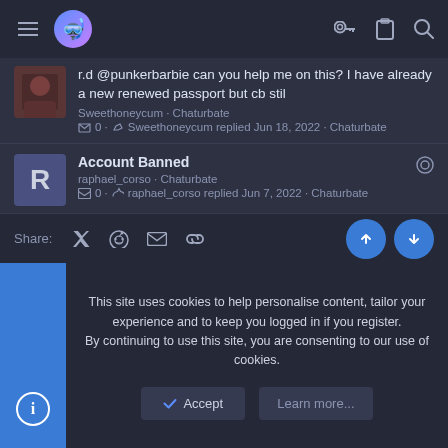Navigation bar with hamburger menu, logo, key icon, clipboard icon, search icon
r.d @punkerbarbie can you help me on this? I have already a new renewed passport but cb stil
Sweethoneycum · Chaturbate
0 · Sweethoneycum replied Jun 18, 2022 · Chaturbate
Account Banned
raphael_corso · Chaturbate
0 · raphael_corso replied Jun 7, 2022 · Chaturbate
New age verification with Jumio troubles.
CyberXGoddess · Chaturbate
4 · CyberXGoddess replied Sunday at 1:48 PM · Chaturbate
Share:
This site uses cookies to help personalise content, tailor your experience and to keep you logged in if you register.
By continuing to use this site, you are consenting to our use of cookies.
Accept
Learn more...